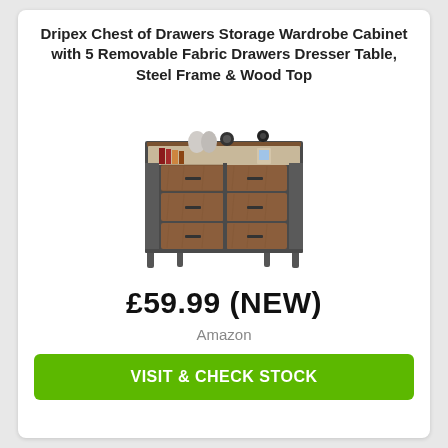Dripex Chest of Drawers Storage Wardrobe Cabinet with 5 Removable Fabric Drawers Dresser Table, Steel Frame & Wood Top
[Figure (photo): Product photo of a Dripex chest of drawers / wardrobe cabinet with brown wood-grain fabric drawers, steel frame, open top shelf with decorative items, on white background.]
£59.99 (NEW)
Amazon
VISIT & CHECK STOCK